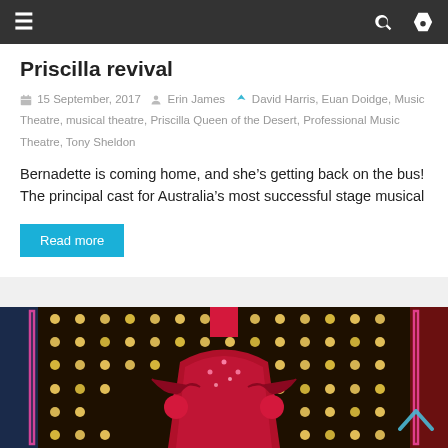Navigation bar with menu, search, and shuffle icons
Priscilla revival
15 September, 2017  Erin James  David Harris, Euan Doidge, Music Theatre, musical theatre, Priscilla Queen of the Desert, Professional Music Theatre, Tony Sheldon
Bernadette is coming home, and she’s getting back on the bus! The principal cast for Australia’s most successful stage musical
Read more
[Figure (photo): A performer in a red sequined costume with hands on hips, standing in front of a stage backdrop covered in round light bulbs, with pink neon frame elements visible on the sides.]